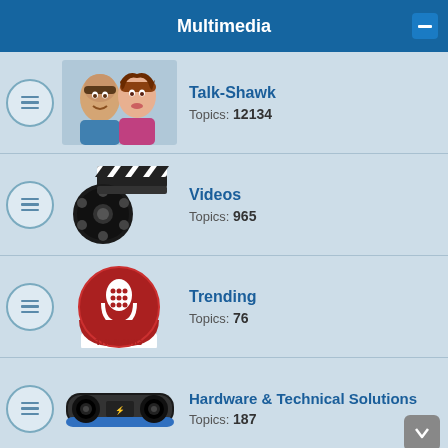Multimedia
Talk-Shawk — Topics: 12134
Videos — Topics: 965
Trending — Topics: 76
Hardware & Technical Solutions — Topics: 187